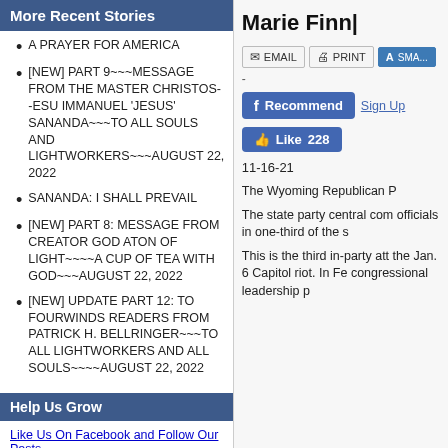More Recent Stories
A PRAYER FOR AMERICA
[NEW] PART 9~~~MESSAGE FROM THE MASTER CHRISTOS--ESU IMMANUEL 'JESUS' SANANDA~~~TO ALL SOULS AND LIGHTWORKERS~~~AUGUST 22, 2022
SANANDA: I SHALL PREVAIL
[NEW] PART 8: MESSAGE FROM CREATOR GOD ATON OF LIGHT~~~~A CUP OF TEA WITH GOD~~~AUGUST 22, 2022
[NEW] UPDATE PART 12: TO FOURWINDS READERS FROM PATRICK H. BELLRINGER~~~TO ALL LIGHTWORKERS AND ALL SOULS~~~~AUGUST 22, 2022
Help Us Grow
Like Us On Facebook and Follow Our Posts
Marie Finn|
[Figure (screenshot): Email, Print, and small-text action buttons]
[Figure (screenshot): Facebook Recommend button and Sign Up link]
[Figure (screenshot): Facebook Like 228 button]
11-16-21
The Wyoming Republican P
The state party central com officials in one-third of the s
This is the third in-party att the Jan. 6 Capitol riot. In Fe congressional leadership p